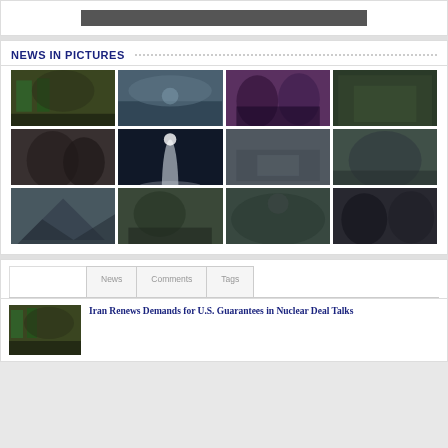[Figure (other): Top banner with dark rectangular image placeholder]
NEWS IN PICTURES
[Figure (photo): Grid of 12 news photos: protest scenes, missile launch, military, aircraft, politicians]
News | Comments | Tags
[Figure (photo): Thumbnail image of protest/crowd scene with green flags]
Iran Renews Demands for U.S. Guarantees in Nuclear Deal Talks